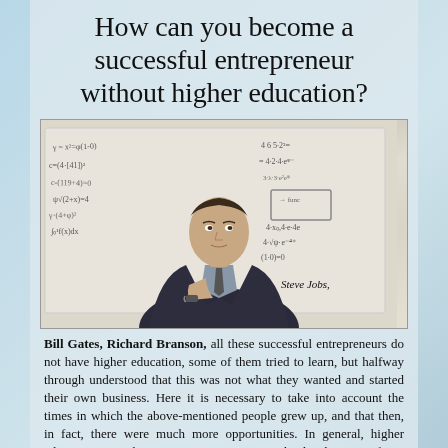How can you become a successful entrepreneur without higher education?
[Figure (photo): A young man in a dark blazer sitting thoughtfully with his hand near his face, in front of a whiteboard covered in mathematical equations and diagrams.]
Steve Jobs, Bill Gates, Richard Branson, all these successful entrepreneurs do not have higher education, some of them tried to learn, but halfway through understood that this was not what they wanted and started their own business. Here it is necessary to take into account the times in which the above-mentioned people grew up, and that then, in fact, there were much more opportunities. In general, higher education is a rather important component in the development of a person, but today it is possible to become a successful entrepreneur without a diploma from a university. In